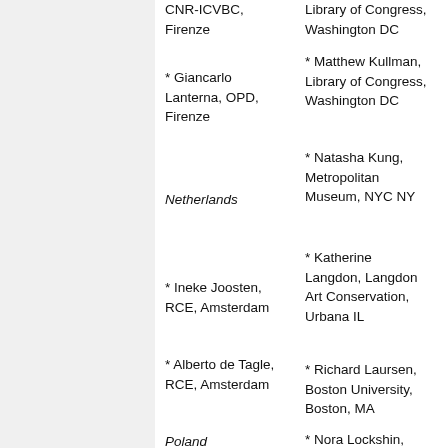CNR-ICVBC, Firenze
Library of Congress, Washington DC
* Giancarlo Lanterna, OPD, Firenze
* Matthew Kullman, Library of Congress, Washington DC
Netherlands
* Natasha Kung, Metropolitan Museum, NYC NY
* Ineke Joosten, RCE, Amsterdam
* Katherine Langdon, Langdon Art Conservation, Urbana IL
* Alberto de Tagle, RCE, Amsterdam
* Richard Laursen, Boston University, Boston, MA
Poland
* Nora Lockshin, Smithsonian Institution Archives, Washington DC
* Piotr Targowski,
* Alison Luxner,